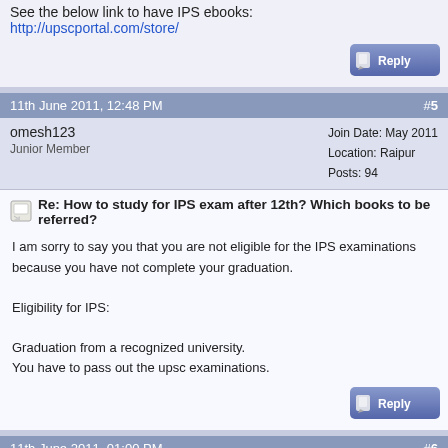See the below link to have IPS ebooks:
http://upscportal.com/store/
[Figure (other): Reply button]
11th June 2011, 12:48 PM   #5
omesh123
Junior Member
Join Date: May 2011
Location: Raipur
Posts: 94
Re: How to study for IPS exam after 12th? Which books to be referred?
I am sorry to say you that you are not eligible for the IPS examinations because you have not complete your graduation.

Eligibility for IPS:

Graduation from a recognized university.
You have to pass out the upsc examinations.
[Figure (other): Reply button]
11th June 2011, 01:00 PM   #6
soumyarajanna
Join Date: Jun 2011
Posts: 7
Re: How to study for IPS exam after 12th? Which books to be referred?
hi,